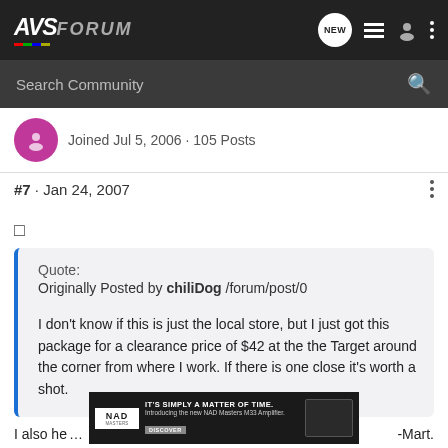AVS FORUM
Joined Jul 5, 2006 · 105 Posts
#7 · Jan 24, 2007
Quote:
Originally Posted by chiliDog /forum/post/0

I don't know if this is just the local store, but I just got this package for a clearance price of $42 at the the Target around the corner from where I work. If there is one close it's worth a shot.
[Figure (other): NAD advertisement banner: IT'S SIMPLY A MATTER OF TIME. Introducing the new NAD Masters M33 Amplifier. DISCOVER]
I also he -Mart.